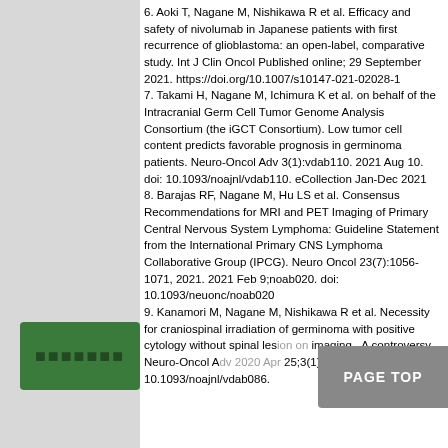6. Aoki T, Nagane M, Nishikawa R et al. Efficacy and safety of nivolumab in Japanese patients with first recurrence of glioblastoma: an open-label, comparative study. Int J Clin Oncol Published online; 29 September 2021. https://doi.org/10.1007/s10147-021-02028-1
7. Takami H, Nagane M, Ichimura K et al. on behalf of the Intracranial Germ Cell Tumor Genome Analysis Consortium (the iGCT Consortium). Low tumor cell content predicts favorable prognosis in germinoma patients. Neuro-Oncol Adv 3(1):vdab110. 2021 Aug 10. doi: 10.1093/noajnl/vdab110. eCollection Jan-Dec 2021
8. Barajas RF, Nagane M, Hu LS et al. Consensus Recommendations for MRI and PET Imaging of Primary Central Nervous System Lymphoma: Guideline Statement from the International Primary CNS Lymphoma Collaborative Group (IPCG). Neuro Oncol 23(7):1056-1071, 2021. 2021 Feb 9;noab020. doi: 10.1093/neuonc/noab020
9. Kanamori M, Nagane M, Nishikawa R et al. Necessity for craniospinal irradiation of germinoma with positive cytology without spinal lesion on imaging - A controversy. Neuro-Oncol Adv 2020 Apr 25;3(1):vdab086. doi: 10.1093/noajnl/vdab086.